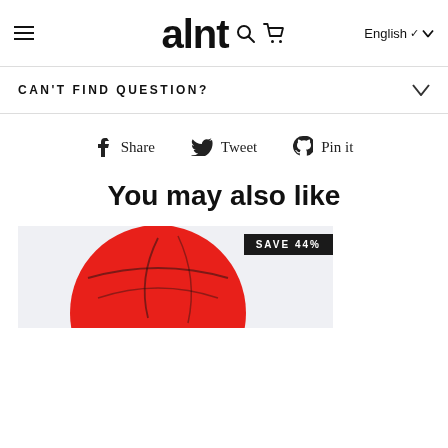alnt — English
CAN'T FIND QUESTION?
Share   Tweet   Pin it
You may also like
[Figure (photo): Product photo of a red ball/basketball with a black 'SAVE 44%' badge overlay. The image shows a partial view of the red product against a light grey background.]